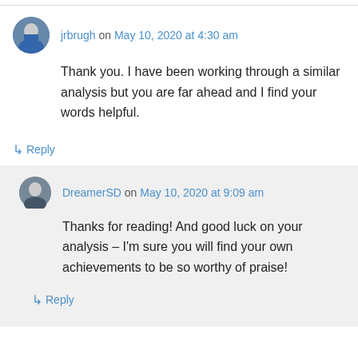jrbrugh on May 10, 2020 at 4:30 am
Thank you. I have been working through a similar analysis but you are far ahead and I find your words helpful.
↳ Reply
DreamerSD on May 10, 2020 at 9:09 am
Thanks for reading! And good luck on your analysis – I'm sure you will find your own achievements to be so worthy of praise!
↳ Reply